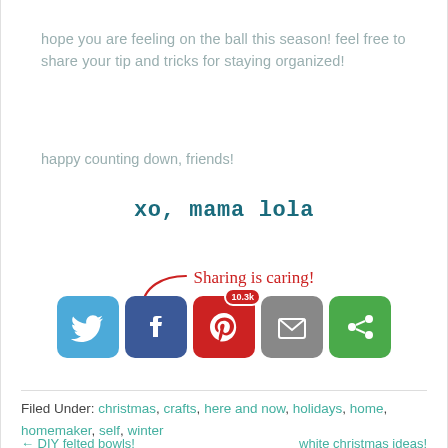hope you are feeling on the ball this season! feel free to share your tip and tricks for staying organized!
happy counting down, friends!
xo, mama lola
[Figure (infographic): Sharing is caring! text with arrow and social media share buttons: Twitter, Facebook (Pinterest with 10.3k badge), Email, and a green share button]
Filed Under: christmas, crafts, here and now, holidays, home, homemaker, self, winter
← DIY felted bowls!    white christmas ideas!